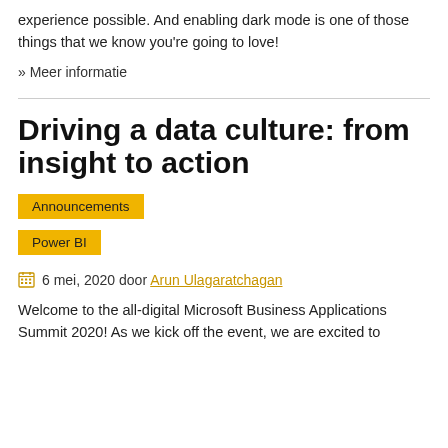experience possible. And enabling dark mode is one of those things that we know you're going to love!
» Meer informatie
Driving a data culture: from insight to action
Announcements
Power BI
6 mei, 2020 door Arun Ulagaratchagan
Welcome to the all-digital Microsoft Business Applications Summit 2020! As we kick off the event, we are excited to